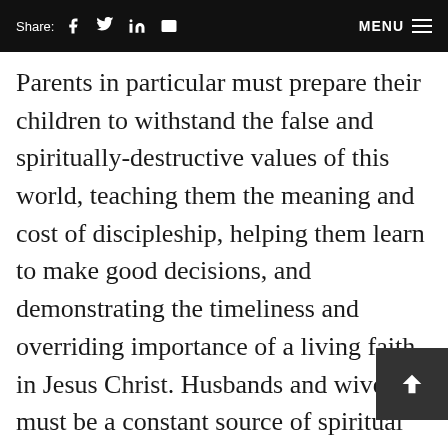Share: f  in  [mail]   MENU ≡
Parents in particular must prepare their children to withstand the false and spiritually-destructive values of this world, teaching them the meaning and cost of discipleship, helping them learn to make good decisions, and demonstrating the timeliness and overriding importance of a living faith in Jesus Christ. Husbands and wives must be a constant source of spiritual strength and reinforcement for each other, for in this way they fulfill their